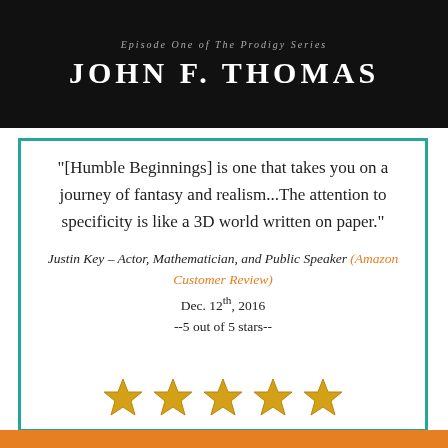[Figure (illustration): Dark book cover header showing 'Episode One of The Prodigy Series' in small italic text and 'JOHN F. THOMAS' in large bold white letters on a black/dark background.]
"[Humble Beginnings] is one that takes you on a journey of fantasy and realism...The attention to specificity is like a 3D world written on paper."
Justin Key - Actor, Mathematician, and Public Speaker (Amazon Customer Review)
Dec. 12th, 2016
--5 out of 5 stars--
[Figure (illustration): Five gold/yellow star rating icons arranged in a row.]